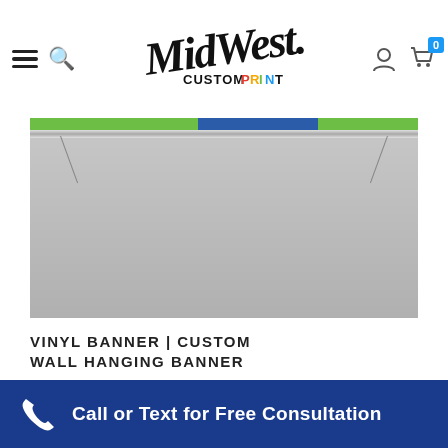[Figure (logo): MidWest CustomPrint logo with stylized script handwriting and colorful CUSTOMPRINT text]
[Figure (photo): Product photo of a vinyl banner hanging on a pole against a gray background, with green and blue bar at top]
VINYL BANNER | CUSTOM WALL HANGING BANNER
NOT RATED
$14.00
Call or Text for Free Consultation